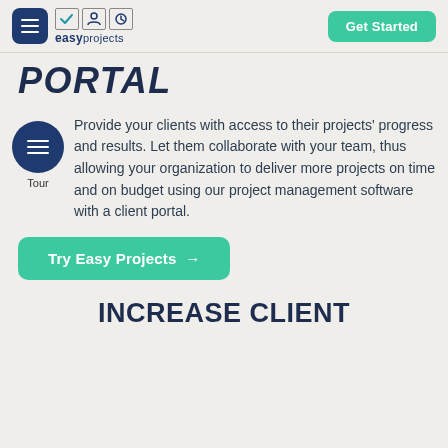easyprojects — Get Started
PORTAL
[Figure (logo): Tour icon: dark blue circle with three horizontal lines (hamburger menu), labeled 'Tour' below]
Provide your clients with access to their projects' progress and results. Let them collaborate with your team, thus allowing your organization to deliver more projects on time and on budget using our project management software with a client portal.
Try Easy Projects →
INCREASE CLIENT